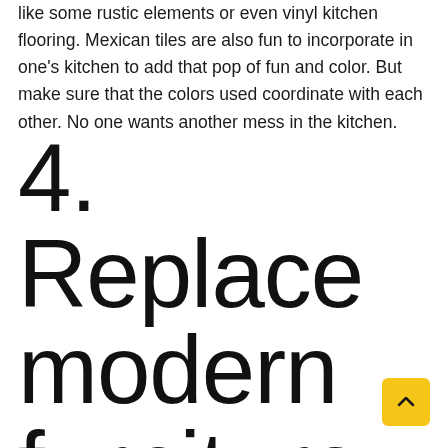like some rustic elements or even vinyl kitchen flooring. Mexican tiles are also fun to incorporate in one's kitchen to add that pop of fun and color. But make sure that the colors used coordinate with each other. No one wants another mess in the kitchen.
4. Replace modern furniture with traditional